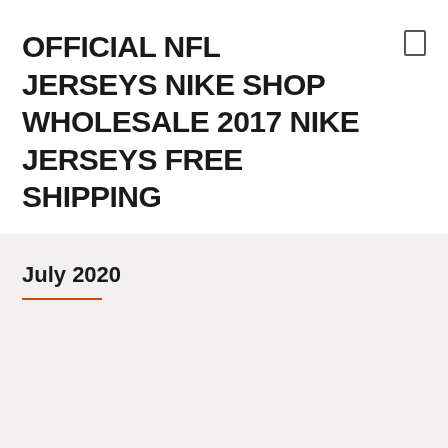OFFICIAL NFL JERSEYS NIKE SHOP WHOLESALE 2017 NIKE JERSEYS FREE SHIPPING
July 2020